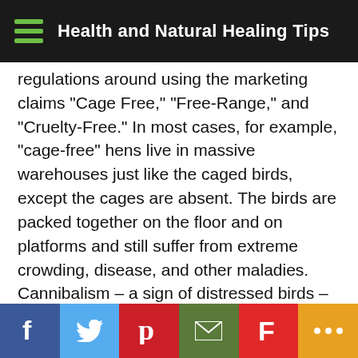Health and Natural Healing Tips
regulations around using the marketing claims “Cage Free,” “Free-Range,” and “Cruelty-Free.” In most cases, for example, “cage-free” hens live in massive warehouses just like the caged birds, except the cages are absent. The birds are packed together on the floor and on platforms and still suffer from extreme crowding, disease, and other maladies. Cannibalism – a sign of distressed birds – is actually higher in cage-free birds than in caged birds. Hens in nature never commit cannibalism.